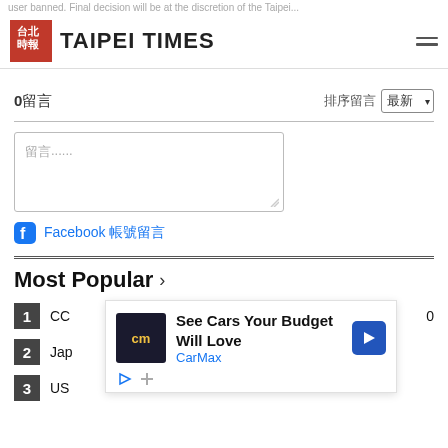user banned. Final decision will be at the discretion of the Taipei...
TAIPEI TIMES
0留言  排序留言 最新 ▾
留言......
Facebook 帳號留言
Most Popular
1  CC... 0
2  Jap...
3  US...
[Figure (infographic): CarMax advertisement overlay: 'See Cars Your Budget Will Love' with CarMax logo and navigation arrow icon]